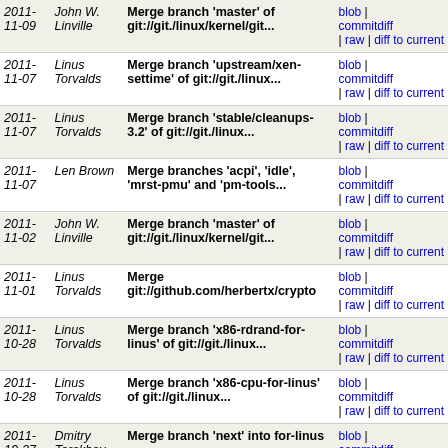| Date | Author | Message | Links |
| --- | --- | --- | --- |
| 2011-11-09 | John W. Linville | Merge branch 'master' of git://git./linux/kernel/git... | blob | commitdiff | raw | diff to current |
| 2011-11-07 | Linus Torvalds | Merge branch 'upstream/xen-settime' of git://git./linux... | blob | commitdiff | raw | diff to current |
| 2011-11-07 | Linus Torvalds | Merge branch 'stable/cleanups-3.2' of git://git./linux... | blob | commitdiff | raw | diff to current |
| 2011-11-07 | Len Brown | Merge branches 'acpi', 'idle', 'mrst-pmu' and 'pm-tools... | blob | commitdiff | raw | diff to current |
| 2011-11-02 | John W. Linville | Merge branch 'master' of git://git./linux/kernel/git... | blob | commitdiff | raw | diff to current |
| 2011-11-01 | Linus Torvalds | Merge git://github.com/herbertx/crypto | blob | commitdiff | raw | diff to current |
| 2011-10-28 | Linus Torvalds | Merge branch 'x86-rdrand-for-linus' of git://git./linux... | blob | commitdiff | raw | diff to current |
| 2011-10-28 | Linus Torvalds | Merge branch 'x86-cpu-for-linus' of git://git./linux... | blob | commitdiff | raw | diff to current |
| 2011-10-27 | Dmitry Torokhov | Merge branch 'next' into for-linus | blob | commitdiff | raw | diff to current |
| 2011-10-25 | Linus Torvalds | Merge branch 'for-linus' of git://git./linux/kernel/... | blob | commitdiff | raw | diff to current |
| 2011- | Jiri Kosina | Merge branch 'upstream' into for- | blob | ... |